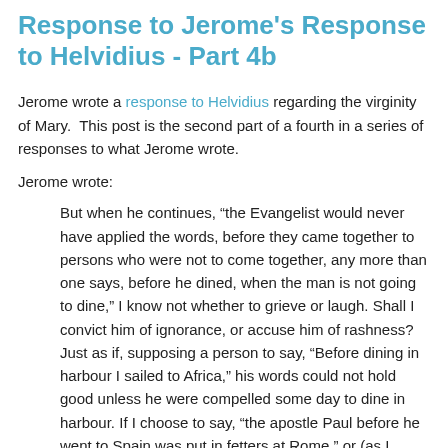Response to Jerome's Response to Helvidius - Part 4b
Jerome wrote a response to Helvidius regarding the virginity of Mary.  This post is the second part of a fourth in a series of responses to what Jerome wrote.
Jerome wrote:
But when he continues, “the Evangelist would never have applied the words, before they came together to persons who were not to come together, any more than one says, before he dined, when the man is not going to dine,” I know not whether to grieve or laugh. Shall I convict him of ignorance, or accuse him of rashness? Just as if, supposing a person to say, “Before dining in harbour I sailed to Africa,” his words could not hold good unless he were compelled some day to dine in harbour. If I choose to say, “the apostle Paul before he went to Spain was put in fetters at Rome,” or (as I certainly might) “Helvidius, before